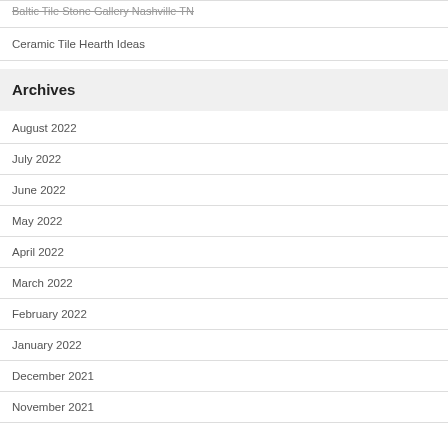Baltic Tile Stone Gallery Nashville TN
Ceramic Tile Hearth Ideas
Archives
August 2022
July 2022
June 2022
May 2022
April 2022
March 2022
February 2022
January 2022
December 2021
November 2021